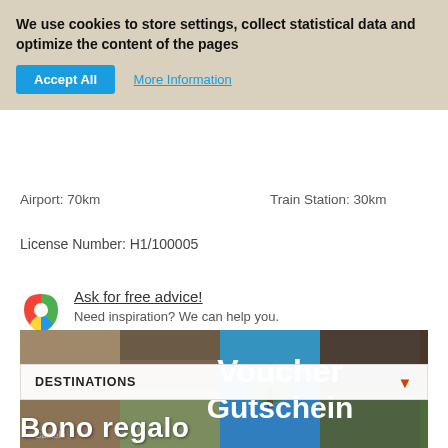We use cookies to store settings, collect statistical data and optimize the content of the pages
Accept All   More Information
Airport: 70km    Train Station: 30km
License Number: H1/100005
Ask for free advice!
Need inspiration? We can help you.
[Figure (photo): Travel photo collage showing kitchen, house exterior, blue sea with tree, bedroom interior, garden, palm trees. Overlaid text: Voucher / Gutschein / Bono regalo]
DESTINATIONS